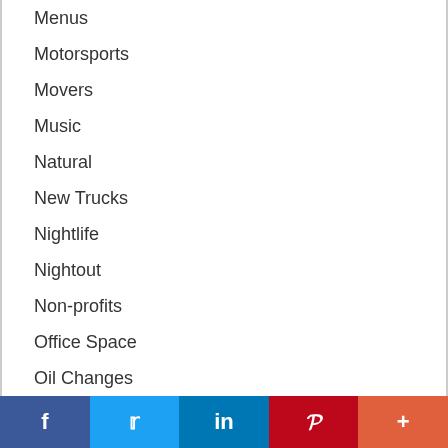Menus
Motorsports
Movers
Music
Natural
New Trucks
Nightlife
Nightout
Non-profits
Office Space
Oil Changes
Organic
Outdoor
Painting
f  Twitter  in  P  +